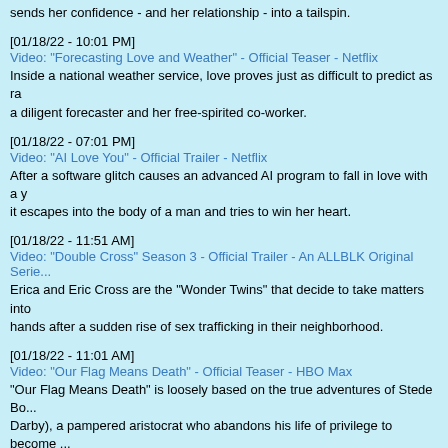sends her confidence - and her relationship - into a tailspin.
[01/18/22 - 10:01 PM]
Video: "Forecasting Love and Weather" - Official Teaser - Netflix
Inside a national weather service, love proves just as difficult to predict as rain for a diligent forecaster and her free-spirited co-worker.
[01/18/22 - 07:01 PM]
Video: "AI Love You" - Official Trailer - Netflix
After a software glitch causes an advanced AI program to fall in love with a young woman, it escapes into the body of a man and tries to win her heart.
[01/18/22 - 11:51 AM]
Video: "Double Cross" Season 3 - Official Trailer - An ALLBLK Original Series
Erica and Eric Cross are the "Wonder Twins" that decide to take matters into their own hands after a sudden rise of sex trafficking in their neighborhood.
[01/18/22 - 11:01 AM]
Video: "Our Flag Means Death" - Official Teaser - HBO Max
"Our Flag Means Death" is loosely based on the true adventures of Stede Bonnet (Rhys Darby), a pampered aristocrat who abandons his life of privilege to become a pirate.
[01/18/22 - 10:01 AM]
Video: "Raising Dion" Season 2 - Official Trailer - Netflix
Nicole continues to raise a son who has much to learn about his superpowers. But with Dion growing stronger, danger may be closer than they think.
next page of results >>